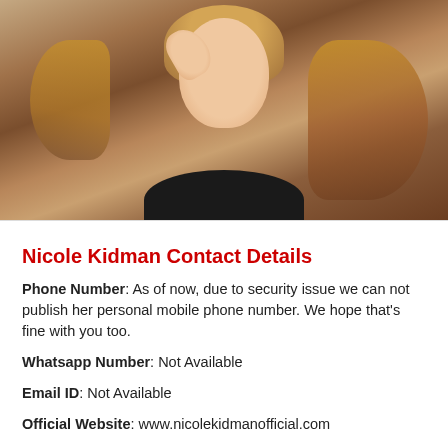[Figure (photo): Portrait photo of a woman with long wavy blonde/auburn hair, wearing a black top, resting her hand near her head against a warm brown background.]
Nicole Kidman Contact Details
Phone Number: As of now, due to security issue we can not publish her personal mobile phone number. We hope that's fine with you too.
Whatsapp Number: Not Available
Email ID: Not Available
Official Website: www.nicolekidmanofficial.com